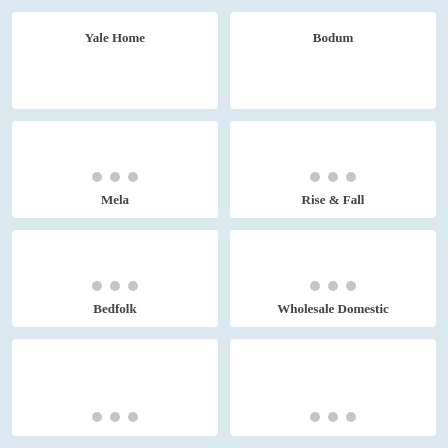Yale Home
Bodum
Mela
Rise & Fall
Bedfolk
Wholesale Domestic
[Figure (other): Card with three grey dots, partial row bottom]
[Figure (other): Card with three grey dots, partial row bottom]